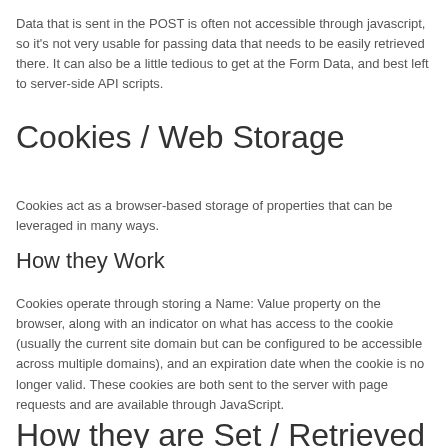Data that is sent in the POST is often not accessible through javascript, so it's not very usable for passing data that needs to be easily retrieved there.  It can also be a little tedious to get at the Form Data, and best left to server-side API scripts.
Cookies / Web Storage
Cookies act as a browser-based storage of properties that can be leveraged in many ways.
How they Work
Cookies operate through storing a Name: Value property on the browser, along with an indicator on what has access to the cookie (usually the current site domain but can be configured to be accessible across multiple domains), and an expiration date when the cookie is no longer valid.  These cookies are both sent to the server with page requests and are available through JavaScript.
How they are Set / Retrieved